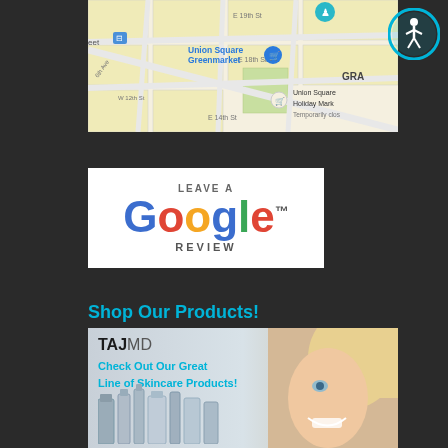[Figure (map): Google Maps screenshot showing Union Square Greenmarket area in New York City, with streets E 19th St, E 18th St, E 14th St, W 12th St, 6th Ave visible, and markers for Union Square Greenmarket and Union Square Holiday Market (Temporarily closed)]
[Figure (logo): Leave a Google Review button/banner with Google logo text in signature colors and text LEAVE A REVIEW surrounding it]
Shop Our Products!
[Figure (infographic): TAJMD product banner showing Check Out Our Great Line of Skincare Products! with product bottles and a smiling blonde woman]